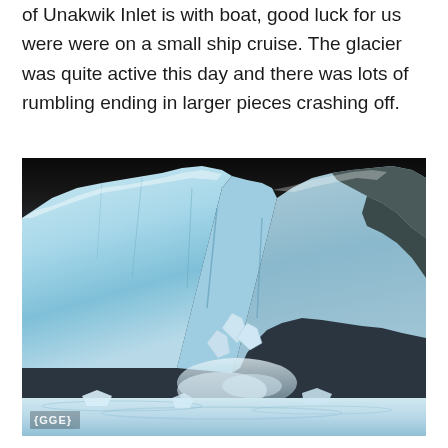of Unakwik Inlet is with boat, good luck for us were were on a small ship cruise. The glacier was quite active this day and there was lots of rumbling ending in larger pieces crashing off.
[Figure (photo): Close-up photograph of a glacier calving at Unakwik Inlet, showing large blue ice formations with cracks and chunks of ice crashing into the water below. The bottom of the image has a watermark reading {GGE}.]